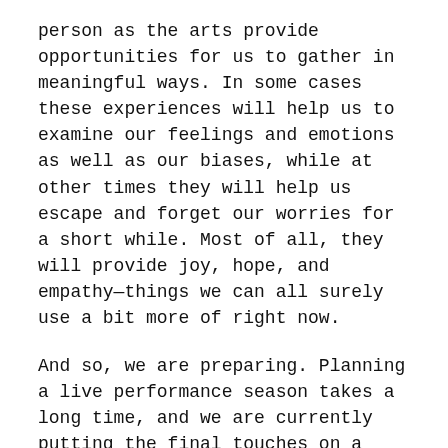person as the arts provide opportunities for us to gather in meaningful ways. In some cases these experiences will help us to examine our feelings and emotions as well as our biases, while at other times they will help us escape and forget our worries for a short while. Most of all, they will provide joy, hope, and empathy—things we can all surely use a bit more of right now.
And so, we are preparing. Planning a live performance season takes a long time, and we are currently putting the final touches on a vibrant, diverse, full season of in-person performances for the 2021-22 season—our 25th Anniversary. We plan to share the full schedule with you at the end of June and are